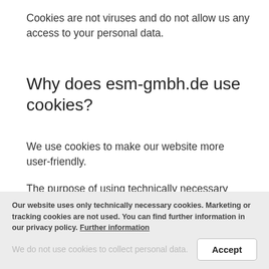Cookies are not viruses and do not allow us any access to your personal data.
Why does esm-gmbh.de use cookies?
We use cookies to make our website more user-friendly.
The purpose of using technically necessary cookies is to facilitate the use of websites for users. Some features of our website can not be offered without the use of cookies. For these, it is necessary that the browser is recognized even after a page break.
We do not use cookies to collect personal data.
Our website uses only technically necessary cookies. Marketing or tracking cookies are not used. You can find further information in our privacy policy. Further information
Accept